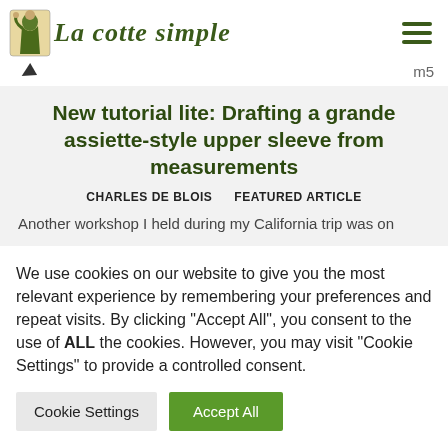La cotte simple
New tutorial lite: Drafting a grande assiette-style upper sleeve from measurements
CHARLES DE BLOIS    FEATURED ARTICLE
Another workshop I held during my California trip was on
We use cookies on our website to give you the most relevant experience by remembering your preferences and repeat visits. By clicking "Accept All", you consent to the use of ALL the cookies. However, you may visit "Cookie Settings" to provide a controlled consent.